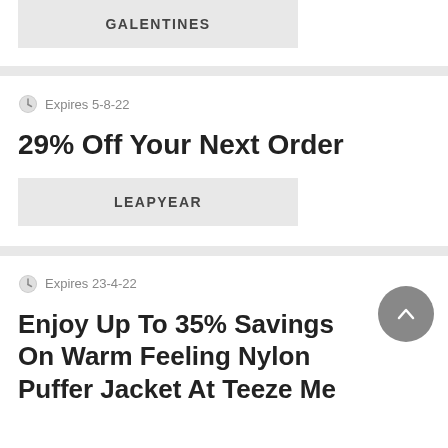GALENTINES
Expires 5-8-22
29% Off Your Next Order
LEAPYEAR
Expires 23-4-22
Enjoy Up To 35% Savings On Warm Feeling Nylon Puffer Jacket At Teeze Me